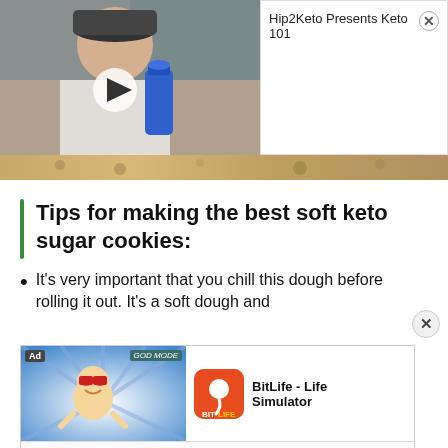[Figure (screenshot): Video overlay showing a man drinking from a blue water bottle with a play button in center]
Hip2Keto Presents Keto 101 ✕
[Figure (photo): Hero image strip showing animal fur or cookie texture]
Tips for making the best soft keto sugar cookies:
It's very important that you chill this dough before rolling it out. It's a soft dough and
[Figure (screenshot): Advertisement for BitLife - Life Simulator app showing animated character and app icon with Install button]
If you don't have a smooth surface to roll out your cookie dough, you can simply place